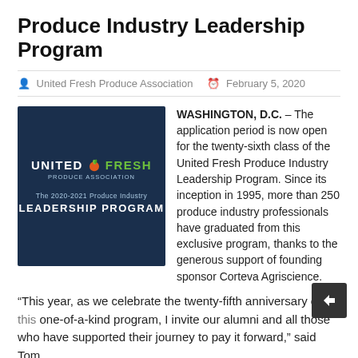Produce Industry Leadership Program
United Fresh Produce Association  February 5, 2020
[Figure (logo): United Fresh Produce Association logo with text: The 2020-2021 Produce Industry LEADERSHIP PROGRAM on a dark navy background]
WASHINGTON, D.C. – The application period is now open for the twenty-sixth class of the United Fresh Produce Industry Leadership Program. Since its inception in 1995, more than 250 produce industry professionals have graduated from this exclusive program, thanks to the generous support of founding sponsor Corteva Agriscience.
“This year, as we celebrate the twenty-fifth anniversary of this one-of-a-kind program, I invite our alumni and all those who have supported their journey to pay it forward,” said Tom